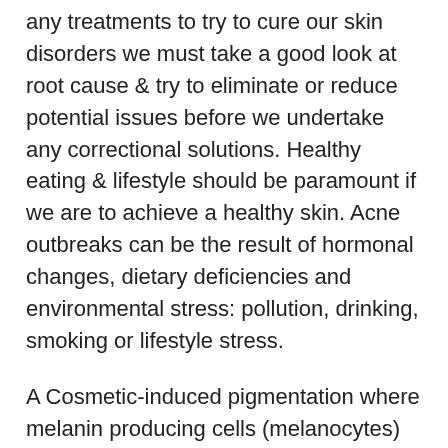any treatments to try to cure our skin disorders we must take a good look at root cause & try to eliminate or reduce potential issues before we undertake any correctional solutions. Healthy eating & lifestyle should be paramount if we are to achieve a healthy skin. Acne outbreaks can be the result of hormonal changes, dietary deficiencies and environmental stress: pollution, drinking, smoking or lifestyle stress.
A Cosmetic-induced pigmentation where melanin producing cells (melanocytes) are destroyed can lead to a skin disorder called Vitiligo. The destruction of these cells results in the appearance of white patches on the skin, in the hair, and on mucous membranes (lips and genitals). Anti-Blemish Solutions is a 3 Step System brimming with extremely effective anti-blemish ingredients delivered in gentle comfortable formulas. Continued treatments with targeted anti-blemish specialist products will help eliminate spots